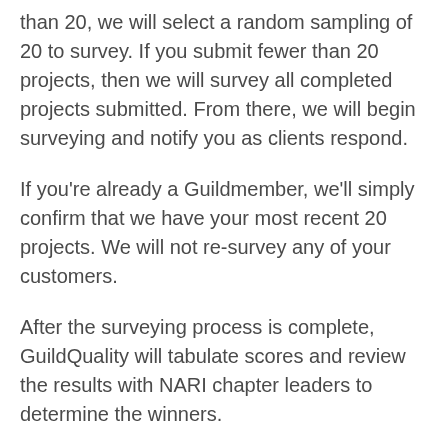than 20, we will select a random sampling of 20 to survey. If you submit fewer than 20 projects, then we will survey all completed projects submitted. From there, we will begin surveying and notify you as clients respond.
If you're already a Guildmember, we'll simply confirm that we have your most recent 20 projects. We will not re-survey any of your customers.
After the surveying process is complete, GuildQuality will tabulate scores and review the results with NARI chapter leaders to determine the winners.
Click here to download the spreadsheet for your client information.